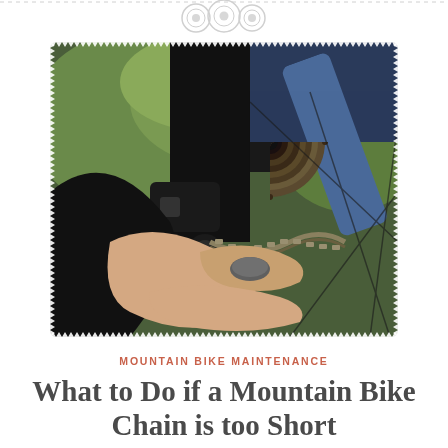[Figure (photo): Close-up photograph of a person's hands working on a mountain bike rear derailleur and chain, with the cassette/sprockets visible and green foliage in the background. The hands are adjusting or threading the chain through the derailleur pulleys.]
MOUNTAIN BIKE MAINTENANCE
What to Do if a Mountain Bike Chain is too Short